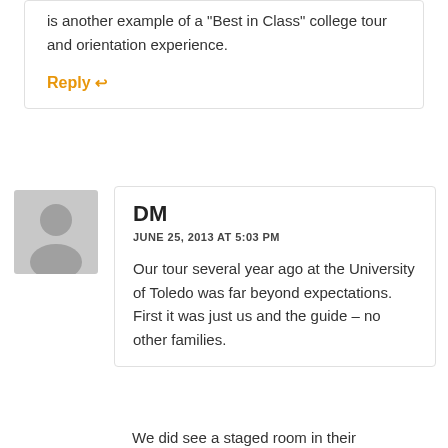is another example of a "Best in Class" college tour and orientation experience.
Reply ↩
DM
JUNE 25, 2013 AT 5:03 PM
Our tour several year ago at the University of Toledo was far beyond expectations. First it was just us and the guide – no other families.
We did see a staged room in their